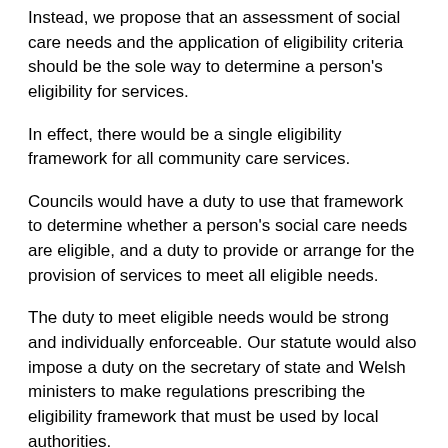Instead, we propose that an assessment of social care needs and the application of eligibility criteria should be the sole way to determine a person's eligibility for services.
In effect, there would be a single eligibility framework for all community care services.
Councils would have a duty to use that framework to determine whether a person's social care needs are eligible, and a duty to provide or arrange for the provision of services to meet all eligible needs.
The duty to meet eligible needs would be strong and individually enforceable. Our statute would also impose a duty on the secretary of state and Welsh ministers to make regulations prescribing the eligibility framework that must be used by local authorities.
Given the Department of Health's commitment to personal budgets, it is important that the law and personal budgets are more closely aligned. Our statute would enable the